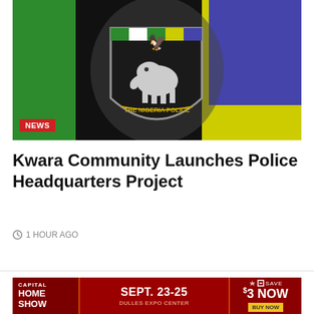[Figure (photo): Nigeria Police Force badge/emblem displayed against a multi-colored flag background (green, black, yellow, blue). The badge shows an eagle at top, an elephant in the center, and reads 'THE NIGERIA POLICE' on a banner at the bottom.]
NEWS
Kwara Community Launches Police Headquarters Project
1 HOUR AGO
[Figure (infographic): Advertisement banner for Capital Home Show, Sept. 23-25, Dulles Expo Center. Save $3 Now. Buy Now button.]